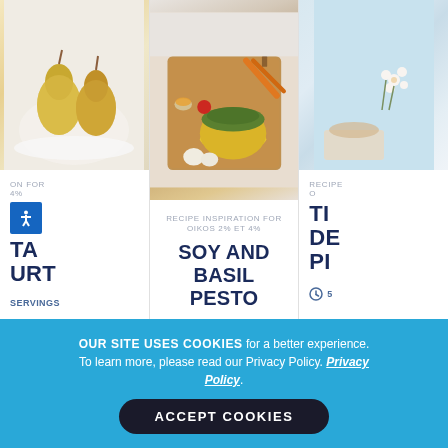[Figure (photo): Left card: food photo showing poached pears on a white plate, soft lighting]
ON FOR
4%
TA
URT
SERVINGS
[Figure (photo): Center card: food photo showing pesto in a yellow bowl on a wooden cutting board with vegetables, garlic, and spices]
RECIPE INSPIRATION FOR
OIKOS 2% ET 4%
SOY AND BASIL PESTO
10 MIN   8 SERVINGS
[Figure (photo): Right card: food photo showing a light blue background with flowers and food items]
RECIPE
O
TI
DE
PI
5
OUR SITE USES COOKIES for a better experience. To learn more, please read our Privacy Policy. Privacy Policy.
ACCEPT COOKIES